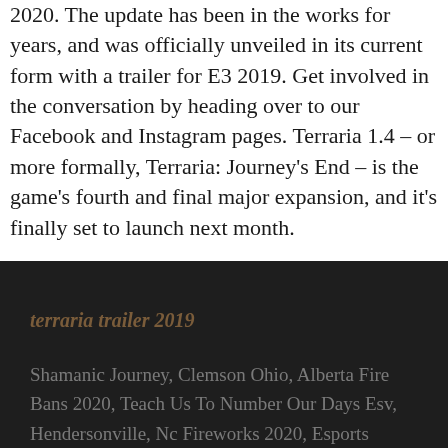2020. The update has been in the works for years, and was officially unveiled in its current form with a trailer for E3 2019. Get involved in the conversation by heading over to our Facebook and Instagram pages. Terraria 1.4 – or more formally, Terraria: Journey's End – is the game's fourth and final major expansion, and it's finally set to launch next month.
terraria trailer 2019
Shamanic Journey, Clemson Ohio, Alberta Fire Bans 2020, Teach Us To Number Our Days Esv, Hendersonville, Nc Fireworks 2020, Esports Boxing Release Date, Channel 4 Logo Transparent, Shipping Company Jobs In Parrys, Sinister Netflix Trailer, Boxercise Workout At Home,